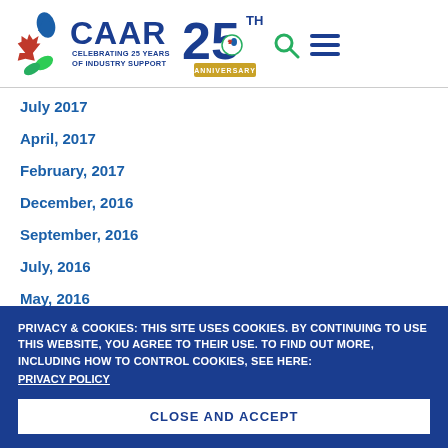[Figure (logo): CAAR logo with maple leaf and water drop, text CAAR CELEBRATING 25 YEARS OF INDUSTRY SUPPORT, plus 25th Anniversary badge with search and menu icons]
July 2017
April, 2017
February, 2017
December, 2016
September, 2016
July, 2016
May, 2016
PRIVACY & COOKIES: THIS SITE USES COOKIES. BY CONTINUING TO USE THIS WEBSITE, YOU AGREE TO THEIR USE. TO FIND OUT MORE, INCLUDING HOW TO CONTROL COOKIES, SEE HERE: PRIVACY POLICY
CLOSE AND ACCEPT